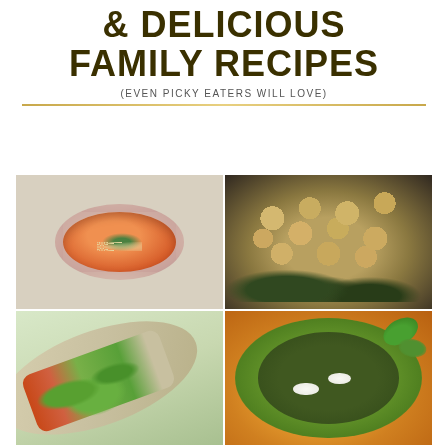& DELICIOUS FAMILY RECIPES (EVEN PICKY EATERS WILL LOVE)
[Figure (photo): Four food photos in a 2x2 grid: top-left shows a bowl of orange tomato soup with basil garnish and pine nuts; top-right shows a salad bowl with chickpeas, mixed greens, beets, carrots and vegetables; bottom-left shows a sliced wrap/tortilla with lettuce and fillings; bottom-right shows a round flatbread/pizza topped with green pesto and mozzarella with fresh basil.]